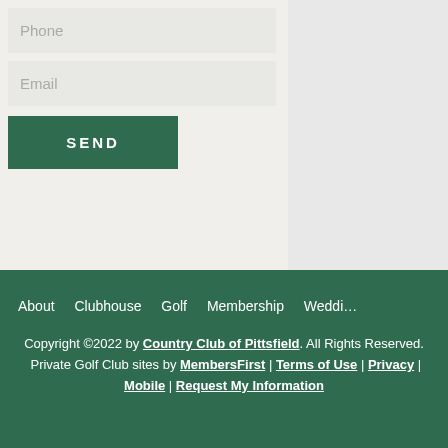Phone
Email
SEND
About  Clubhouse  Golf  Membership  Wedding
Copyright ©2022 by Country Club of Pittsfield. All Rights Reserved. Private Golf Club sites by MembersFirst | Terms of Use | Privacy | Mobile | Request My Information